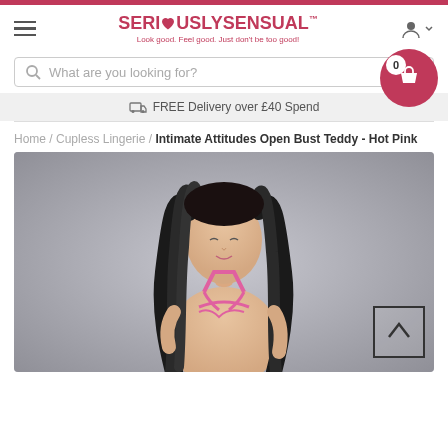SERI♥USLYSENSUAL™ — Look good. Feel good. Just don't be too good!
What are you looking for?
FREE Delivery over £40 Spend
Home / Cupless Lingerie / Intimate Attitudes Open Bust Teddy - Hot Pink
[Figure (photo): Model wearing hot pink open bust teddy lingerie against a grey background, with long dark curly hair, head tilted down]